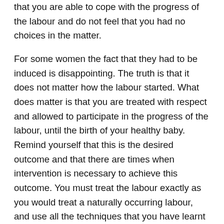that you are able to cope with the progress of the labour and do not feel that you had no choices in the matter.
For some women the fact that they had to be induced is disappointing. The truth is that it does not matter how the labour started. What does matter is that you are treated with respect and allowed to participate in the progress of the labour, until the birth of your healthy baby. Remind yourself that this is the desired outcome and that there are times when intervention is necessary to achieve this outcome. You must treat the labour exactly as you would treat a naturally occurring labour, and use all the techniques that you have learnt in classes to cope with the labour.
See also: